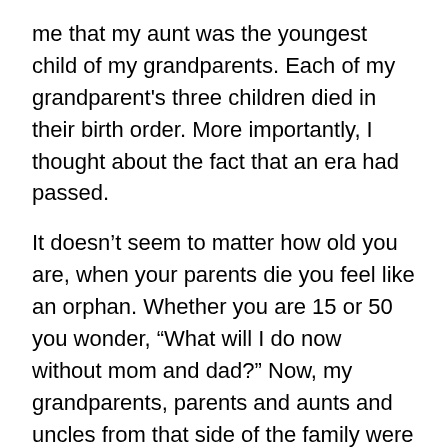me that my aunt was the youngest child of my grandparents. Each of my grandparent's three children died in their birth order. More importantly, I thought about the fact that an era had passed.
It doesn't seem to matter how old you are, when your parents die you feel like an orphan. Whether you are 15 or 50 you wonder, “What will I do now without mom and dad?” Now, my grandparents, parents and aunts and uncles from that side of the family were gone, with only memories to fall back on.
One wonders if the Israelites felt the same way as they crossed the Jordan River and entered the land promised to Abraham, Isaac and Jacob. The stones they gathered from the Jordan River became a memorial to remind them of God’s promises.